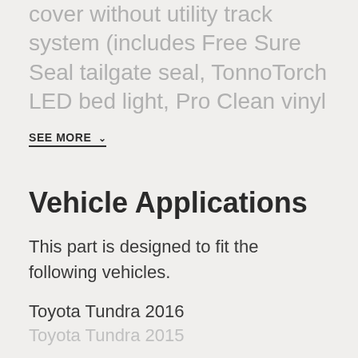cover without utility track system (includes Free Sure Seal tailgate seal, TonnoTorch LED bed light, Pro Clean vinyl
SEE MORE
Vehicle Applications
This part is designed to fit the following vehicles.
Toyota Tundra 2016
Toyota Tundra 2015
SEE MORE